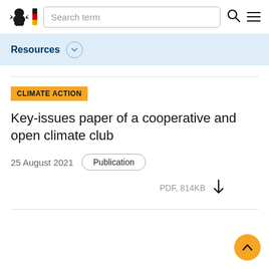Search term
Resources
CLIMATE ACTION
Key-issues paper of a cooperative and open climate club
25 August 2021   Publication
PDF, 814KB